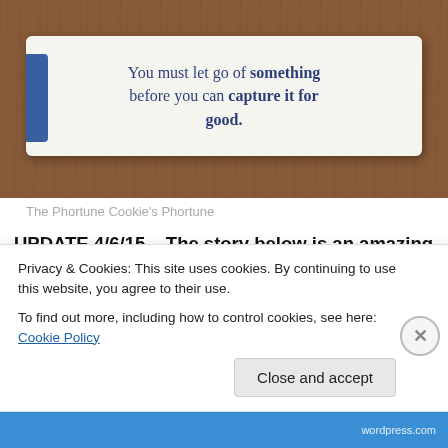[Figure (photo): A fortune cookie slip on a wooden table surface. The slip reads: 'You must let go of something before you can capture it for good.' Blue decorative bars visible on the left edge of the slip.]
The Phortune Cookie's Phortune
UPDATE 4/6/15 – The story below is an amazing one! For an update on my current agent status, this post will be...
Privacy & Cookies: This site uses cookies. By continuing to use this website, you agree to their use.
To find out more, including how to control cookies, see here: Cookie Policy
Close and accept